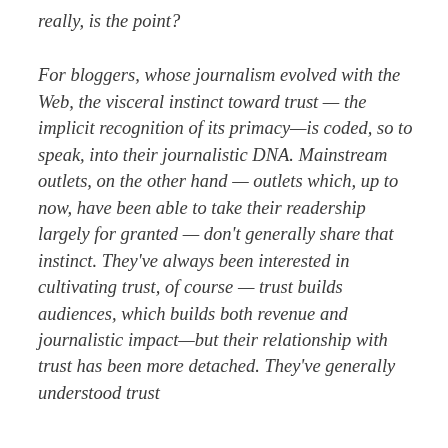really, is the point?
For bloggers, whose journalism evolved with the Web, the visceral instinct toward trust — the implicit recognition of its primacy—is coded, so to speak, into their journalistic DNA. Mainstream outlets, on the other hand — outlets which, up to now, have been able to take their readership largely for granted — don't generally share that instinct. They've always been interested in cultivating trust, of course — trust builds audiences, which builds both revenue and journalistic impact—but their relationship with trust has been more detached. They've generally understood trust